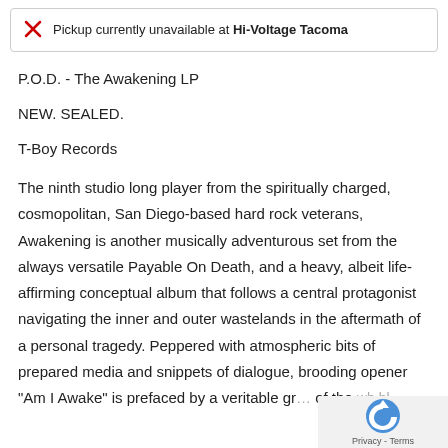Pickup currently unavailable at Hi-Voltage Tacoma
P.O.D. - The Awakening LP
NEW. SEALED.
T-Boy Records
The ninth studio long player from the spiritually charged, cosmopolitan, San Diego-based hard rock veterans, Awakening is another musically adventurous set from the always versatile Payable On Death, and a heavy, albeit life-affirming conceptual album that follows a central protagonist navigating the inner and outer wastelands in the aftermath of a personal tragedy. Peppered with atmospheric bits of prepared media and snippets of dialogue, the brooding opener "Am I Awake" is prefaced by a veritable gr... of the world itbl...